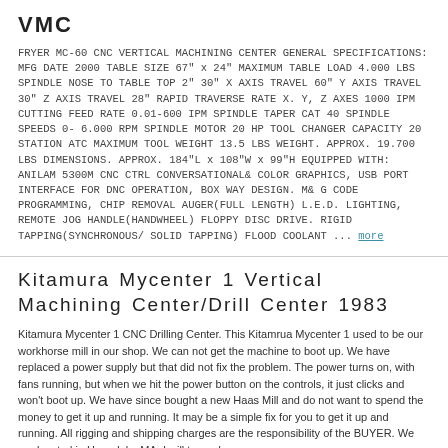VMC
FRYER MC-60 CNC VERTICAL MACHINING CENTER GENERAL SPECIFICATIONS: MFG DATE 2000 TABLE SIZE 67" x 24" MAXIMUM TABLE LOAD 4,000 LBS SPINDLE NOSE TO TABLE TOP 2" 30" X AXIS TRAVEL 60" Y AXIS TRAVEL 30" Z AXIS TRAVEL 28" RAPID TRAVERSE RATE X, Y, Z AXES 1000 IPM CUTTING FEED RATE 0.01-600 IPM SPINDLE TAPER CAT 40 SPINDLE SPEEDS 0- 6,000 RPM SPINDLE MOTOR 20 HP TOOL CHANGER CAPACITY 20 STATION ATC MAXIMUM TOOL WEIGHT 13.5 LBS WEIGHT. APPROX. 19,700 LBS DIMENSIONS. APPROX. 184"L x 108"W x 99"H EQUIPPED WITH: ANILAM 5300M CNC CTRL CONVERSATIONAL& COLOR GRAPHICS, USB PORT INTERFACE FOR DNC OPERATION, BOX WAY DESIGN. M& G CODE PROGRAMMING, CHIP REMOVAL AUGER(FULL LENGTH) L.E.D. LIGHTING, REMOTE JOG HANDLE(HANDWHEEL) FLOPPY DISC DRIVE. RIGID TAPPING(SYNCHRONOUS/ SOLID TAPPING) FLOOD COOLANT ... more
Kitamura Mycenter 1 Vertical Machining Center/Drill Center 1983
Kitamura Mycenter 1 CNC Drilling Center. This Kitamrua Mycenter 1 used to be our workhorse mill in our shop. We can not get the machine to boot up. We have replaced a power supply but that did not fix the problem. The power turns on, with fans running, but when we hit the power button on the controls, it just clicks and won't boot up. We have since bought a new Haas Mill and do not want to spend the money to get it up and running. It may be a simple fix for you to get it up and running. All rigging and shipping charges are the responsibility of the BUYER. We are located in Hopedale, MA. I will try and answer any